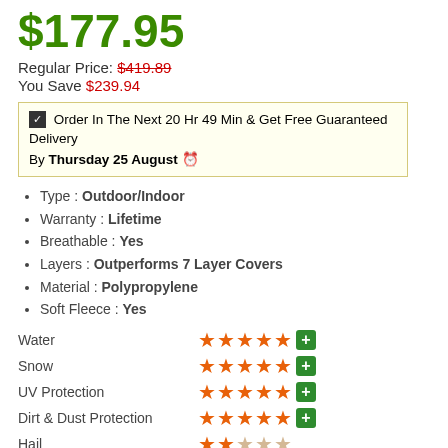$177.95
Regular Price: $419.89
You Save $239.94
☑ Order In The Next 20 Hr 49 Min & Get Free Guaranteed Delivery By Thursday 25 August ⊙
Type : Outdoor/Indoor
Warranty : Lifetime
Breathable : Yes
Layers : Outperforms 7 Layer Covers
Material : Polypropylene
Soft Fleece : Yes
| Category | Rating |
| --- | --- |
| Water | 5 stars + plus |
| Snow | 5 stars + plus |
| UV Protection | 5 stars + plus |
| Dirt & Dust Protection | 5 stars + plus |
| Hail | 2 stars out of 5 |